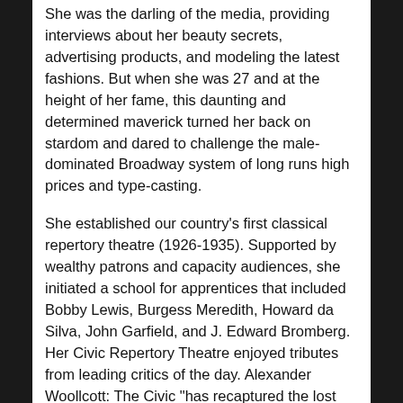She was the darling of the media, providing interviews about her beauty secrets, advertising products, and modeling the latest fashions. But when she was 27 and at the height of her fame, this daunting and determined maverick turned her back on stardom and dared to challenge the male-dominated Broadway system of long runs high prices and type-casting.
She established our country's first classical repertory theatre (1926-1935). Supported by wealthy patrons and capacity audiences, she initiated a school for apprentices that included Bobby Lewis, Burgess Meredith, Howard da Silva, John Garfield, and J. Edward Bromberg. Her Civic Repertory Theatre enjoyed tributes from leading critics of the day. Alexander Woollcott: The Civic "has recaptured the lost charm the lost pleasure in the theater." Robert Benchley: "One ought to go